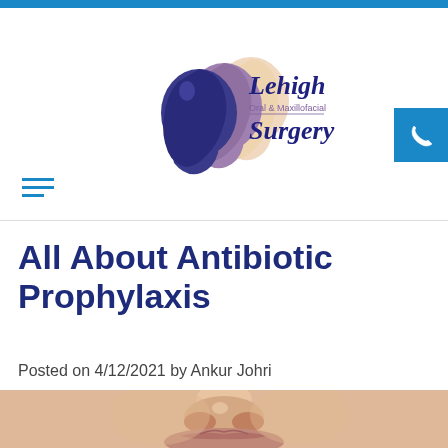Lehigh Oral & Maxillofacial Surgery
All About Antibiotic Prophylaxis
Posted on 4/12/2021 by Ankur Johri
[Figure (photo): Close-up photo of a person's nose and lips, showing facial skin texture]